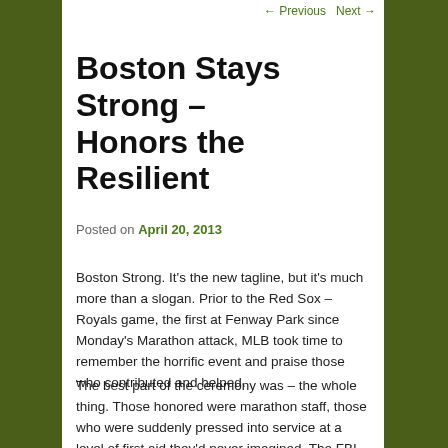← Previous   Next →
Boston Stays Strong – Honors the Resilient
Posted on April 20, 2013
Boston Strong. It's the new tagline, but it's much more than a slogan. Prior to the Red Sox – Royals game, the first at Fenway Park since Monday's Marathon attack, MLB took time to remember the horrific event and praise those who contributed and helped.
The best part of the ceremony was – the whole thing. Those honored were marathon staff, those who were suddenly pressed into service at a level of first aid they'd never imagined. The FBI and supporting intelligence sources, who used both high tech and old-fashioned teamwork to catch those responsible. Police forces in and